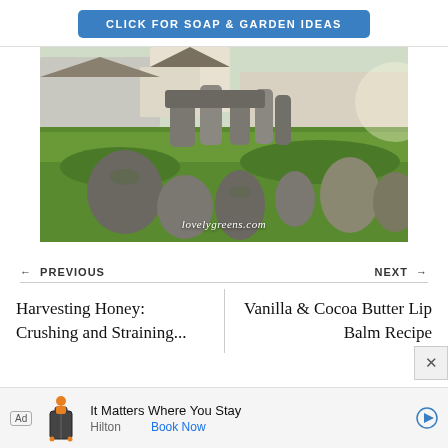[Figure (other): Blue rounded rectangle button with text CLICK FOR SOAP & GARDEN IDEAS in white uppercase letters]
[Figure (photo): Photograph of ancient standing stones arranged in a circle on green grass with houses and trees in the background. Watermark reads lovelygreens.com]
← PREVIOUS
NEXT →
Harvesting Honey: Crushing and Straining...
Vanilla & Cocoa Butter Lip Balm Recipe
[Figure (other): Advertisement banner: Ad label, luggage/travel bag icon, text 'It Matters Where You Stay', Hilton, Book Now button, and play icon]